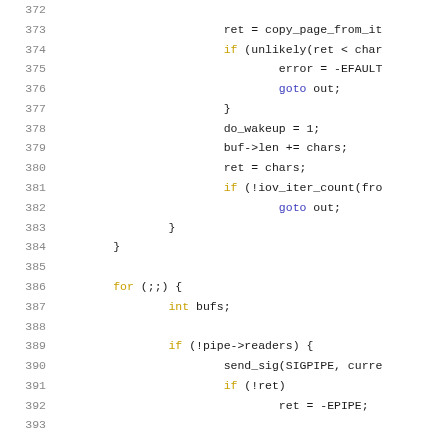[Figure (screenshot): Source code listing lines 372-392 of a C kernel file showing pipe write logic with syntax highlighting. Keywords in gold/yellow, goto in blue, line numbers in gray.]